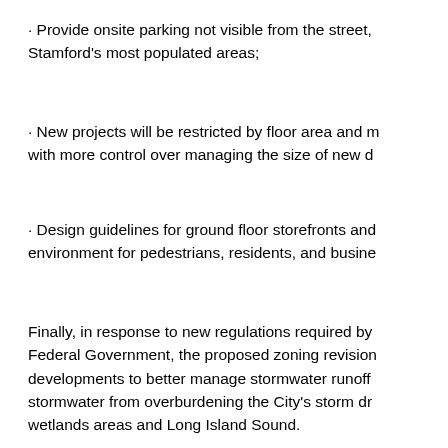· Provide onsite parking not visible from the street, Stamford's most populated areas;
· New projects will be restricted by floor area and r with more control over managing the size of new d
· Design guidelines for ground floor storefronts and environment for pedestrians, residents, and busine
Finally, in response to new regulations required by Federal Government, the proposed zoning revision developments to better manage stormwater runoff stormwater from overburdening the City's storm dr wetlands areas and Long Island Sound.